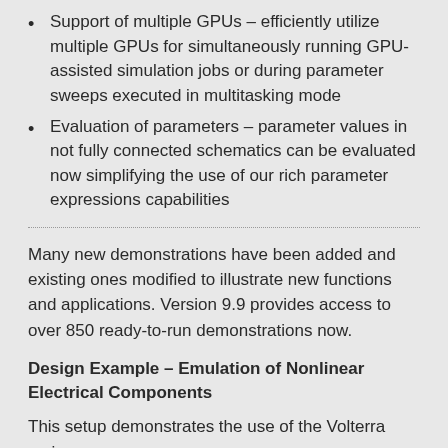Support of multiple GPUs – efficiently utilize multiple GPUs for simultaneously running GPU-assisted simulation jobs or during parameter sweeps executed in multitasking mode
Evaluation of parameters – parameter values in not fully connected schematics can be evaluated now simplifying the use of our rich parameter expressions capabilities
Many new demonstrations have been added and existing ones modified to illustrate new functions and applications. Version 9.9 provides access to over 850 ready-to-run demonstrations now.
Design Example – Emulation of Nonlinear Electrical Components
This setup demonstrates the use of the Volterra series